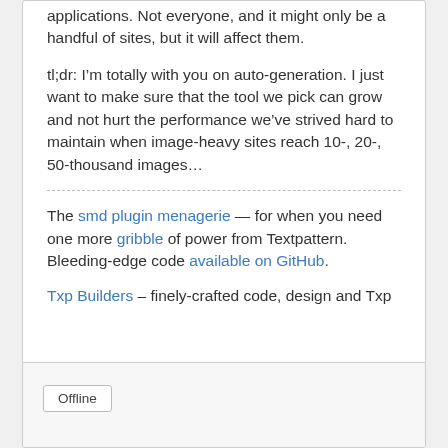applications. Not everyone, and it might only be a handful of sites, but it will affect them.
tl;dr: I’m totally with you on auto-generation. I just want to make sure that the tool we pick can grow and not hurt the performance we’ve strived hard to maintain when image-heavy sites reach 10-, 20-, 50-thousand images…
The smd plugin menagerie — for when you need one more gribble of power from Textpattern. Bleeding-edge code available on GitHub.
Txp Builders – finely-crafted code, design and Txp
Offline